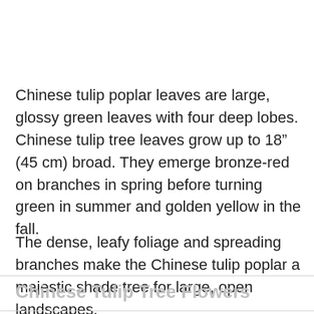Chinese tulip poplar leaves are large, glossy green leaves with four deep lobes. Chinese tulip tree leaves grow up to 18” (45 cm) broad. They emerge bronze-red on branches in spring before turning green in summer and golden yellow in the fall.
The dense, leafy foliage and spreading branches make the Chinese tulip poplar a majestic shade tree for large, open landscapes.
Chinese Tulip Tree Flowers